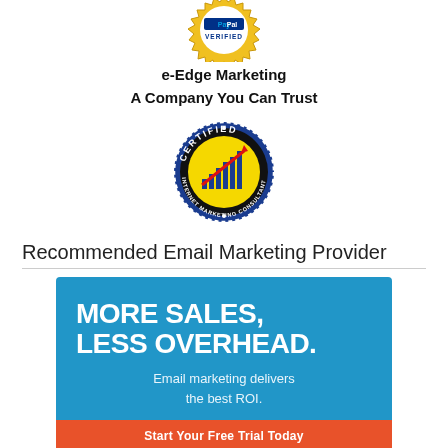[Figure (logo): PayPal Verified gold seal badge at top of page, partially cropped]
e-Edge Marketing
A Company You Can Trust
[Figure (logo): Certified Internet Marketing Consultant circular badge with bar chart graphic]
Recommended Email Marketing Provider
[Figure (infographic): Blue advertisement banner reading MORE SALES, LESS OVERHEAD. Email marketing delivers the best ROI. With orange call-to-action button at bottom.]